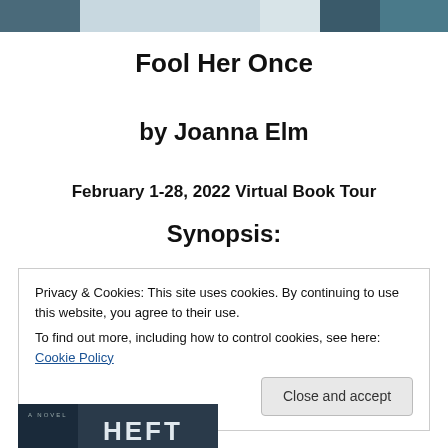[Figure (photo): Top portion of a book cover image showing blue-green tones]
Fool Her Once
by Joanna Elm
February 1-28, 2022 Virtual Book Tour
Synopsis:
Privacy & Cookies: This site uses cookies. By continuing to use this website, you agree to their use.
To find out more, including how to control cookies, see here: Cookie Policy
Close and accept
[Figure (photo): Bottom portion showing book cover with dark blue tones and partial text]